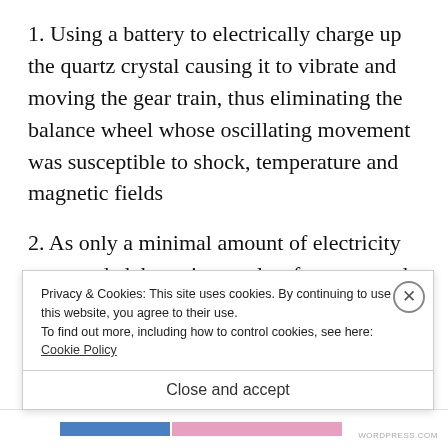1. Using a battery to electrically charge up the quartz crystal causing it to vibrate and moving the gear train, thus eliminating the balance wheel whose oscillating movement was susceptible to shock, temperature and magnetic fields
2. As only a minimal amount of electricity was needed, batteries can last for years and replacement would be fuss-free
Privacy & Cookies: This site uses cookies. By continuing to use this website, you agree to their use. To find out more, including how to control cookies, see here: Cookie Policy
Close and accept